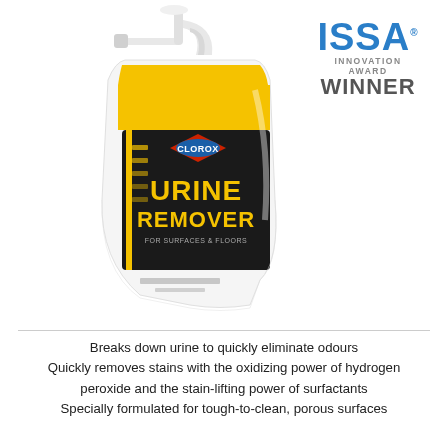[Figure (photo): Clorox Urine Remover spray bottle with yellow label on dark background, featuring the Clorox diamond logo. Shown at an angle. In the top-right corner is the ISSA Innovation Award Winner badge.]
Breaks down urine to quickly eliminate odours
Quickly removes stains with the oxidizing power of hydrogen peroxide and the stain-lifting power of surfactants
Specially formulated for tough-to-clean, porous surfaces